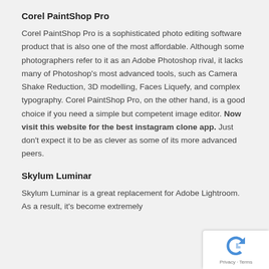Corel PaintShop Pro
Corel PaintShop Pro is a sophisticated photo editing software product that is also one of the most affordable. Although some photographers refer to it as an Adobe Photoshop rival, it lacks many of Photoshop’s most advanced tools, such as Camera Shake Reduction, 3D modelling, Faces Liquefy, and complex typography. Corel PaintShop Pro, on the other hand, is a good choice if you need a simple but competent image editor. Now visit this website for the best instagram clone app. Just don’t expect it to be as clever as some of its more advanced peers.
Skylum Luminar
Skylum Luminar is a great replacement for Adobe Lightroom. As a result, it’s become extremely